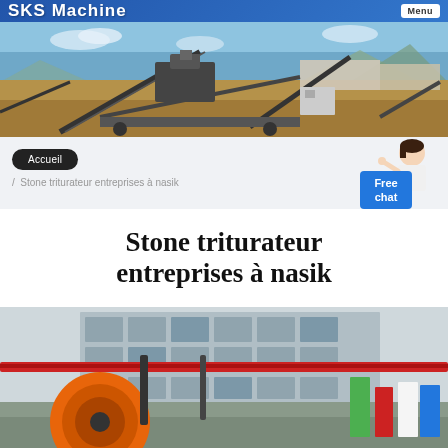SKS Machine  Menu
[Figure (photo): Outdoor industrial stone crushing machine setup with conveyor belts and processing equipment at a quarry or construction site, blue sky and mountains in background]
Accueil
/ Stone triturateur entreprises à nasik
[Figure (illustration): Chat widget with female avatar and 'Free chat' blue button on right side]
Stone triturateur entreprises à nasik
[Figure (photo): Industrial machinery inside a factory building with orange conveyor drum and red pipes, building facade visible in background]